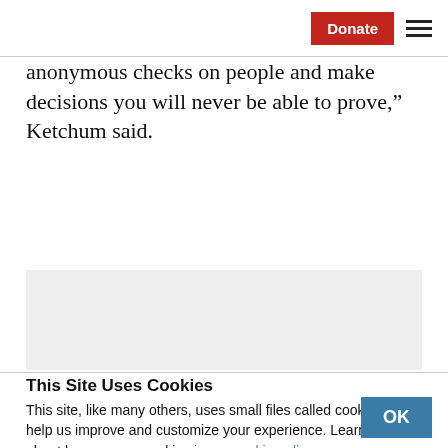Donate  ≡
anonymous checks on people and make decisions you will never be able to prove,” Ketchum said.
[Figure (other): Gray placeholder advertisement or content box]
This Site Uses Cookies
This site, like many others, uses small files called cookies to help us improve and customize your experience. Learn more about how we use cookies in our cookie policy.